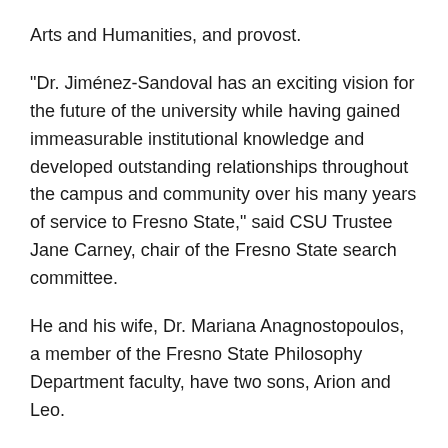Arts and Humanities, and provost.
“Dr. Jiménez-Sandoval has an exciting vision for the future of the university while having gained immeasurable institutional knowledge and developed outstanding relationships throughout the campus and community over his many years of service to Fresno State,” said CSU Trustee Jane Carney, chair of the Fresno State search committee.
He and his wife, Dr. Mariana Anagnostopoulos, a member of the Fresno State Philosophy Department faculty, have two sons, Arion and Leo.
See California State University announcement.